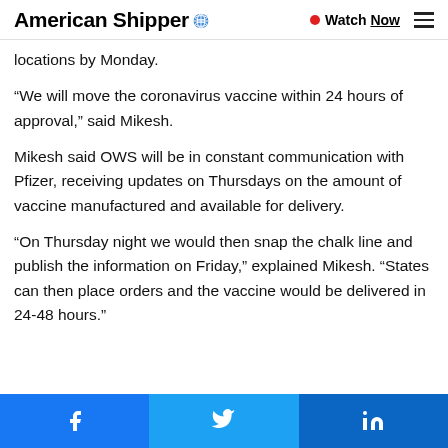American Shipper • Watch Now
locations by Monday.
“We will move the coronavirus vaccine within 24 hours of approval,” said Mikesh.
Mikesh said OWS will be in constant communication with Pfizer, receiving updates on Thursdays on the amount of vaccine manufactured and available for delivery.
“On Thursday night we would then snap the chalk line and publish the information on Friday,” explained Mikesh. “States can then place orders and the vaccine would be delivered in 24-48 hours.”
Share on Facebook | Share on Twitter | Share on LinkedIn